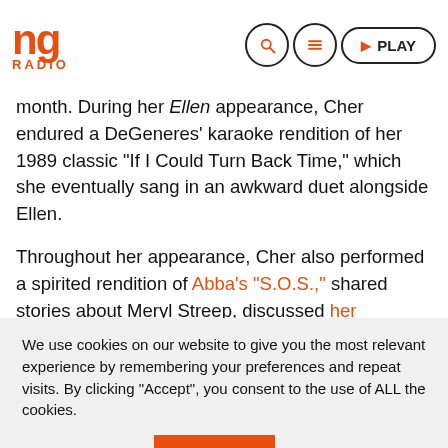NG RADIO
month. During her Ellen appearance, Cher endured a DeGeneres' karaoke rendition of her 1989 classic “If I Could Turn Back Time,” which she eventually sang in an awkward duet alongside Ellen.
Throughout her appearance, Cher also performed a spirited rendition of Abba’s “S.O.S.,” shared stories about Meryl Streep, discussed her upcoming world tour, and
We use cookies on our website to give you the most relevant experience by remembering your preferences and repeat visits. By clicking “Accept”, you consent to the use of ALL the cookies.
Cookie settings | ACCEPT
Anna Maria Nikolaidou Me Tin Anna Maria